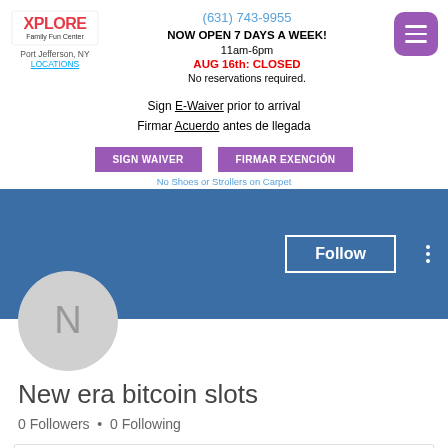[Figure (logo): XPLORE Family Fun Center logo with colorful lettering]
Port Jefferson, NY
LOCATIONS
(631) 743-9955
NOW OPEN 7 DAYS A WEEK!
11am-6pm
AUG 16th: CLOSED
No reservations required.
[Figure (other): Purple hamburger menu button]
Sign E-Waiver prior to arrival
Firmar Acuerdo antes de llegada
SIGN WAIVER
FIRMAR EXENCIÓN
No Shoes or Strollers on Carpet
[Figure (screenshot): Social media profile header: blue banner with Follow button and three-dot menu, gray avatar circle with letter N]
New era bitcoin slots
0 Followers  •  0 Following
[Figure (other): Collapsed card/accordion box with chevron down arrow]